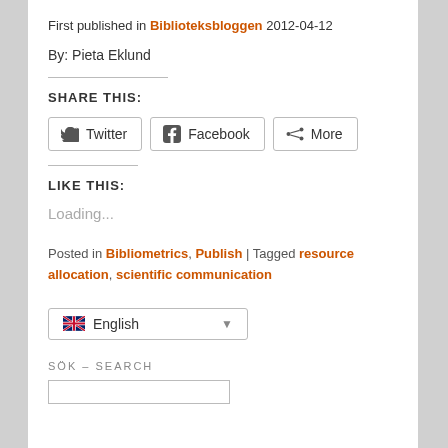First published in Biblioteksbloggen 2012-04-12
By: Pieta Eklund
SHARE THIS:
[Figure (other): Social share buttons: Twitter, Facebook, More]
LIKE THIS:
Loading...
Posted in Bibliometrics, Publish | Tagged resource allocation, scientific communication
[Figure (other): Language selector dropdown showing English with UK flag]
SÖK – SEARCH
[Figure (other): Search input box]